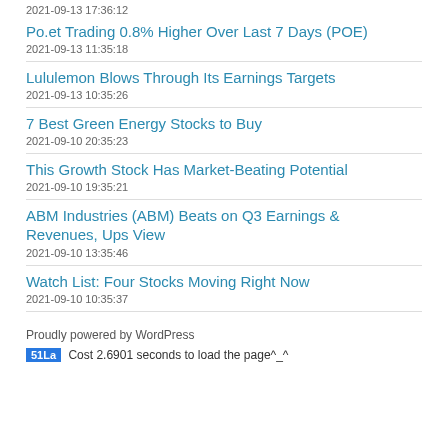2021-09-13 17:36:12
Po.et Trading 0.8% Higher Over Last 7 Days (POE)
2021-09-13 11:35:18
Lululemon Blows Through Its Earnings Targets
2021-09-13 10:35:26
7 Best Green Energy Stocks to Buy
2021-09-10 20:35:23
This Growth Stock Has Market-Beating Potential
2021-09-10 19:35:21
ABM Industries (ABM) Beats on Q3 Earnings & Revenues, Ups View
2021-09-10 13:35:46
Watch List: Four Stocks Moving Right Now
2021-09-10 10:35:37
Proudly powered by WordPress
51La Cost 2.6901 seconds to load the page^_^